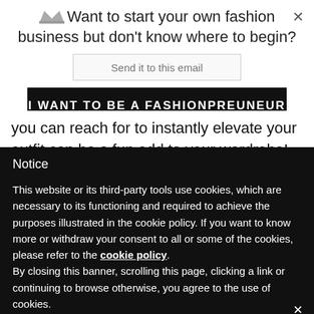Want to start your own fashion business but don't know where to begin?
I WANT TO BE A FASHIONPREUNEUR
you can reach for to instantly elevate your outfit can be a fun add to your wardrobe! Try on your
Notice
This website or its third-party tools use cookies, which are necessary to its functioning and required to achieve the purposes illustrated in the cookie policy. If you want to know more or withdraw your consent to all or some of the cookies, please refer to the cookie policy. By closing this banner, scrolling this page, clicking a link or continuing to browse otherwise, you agree to the use of cookies.